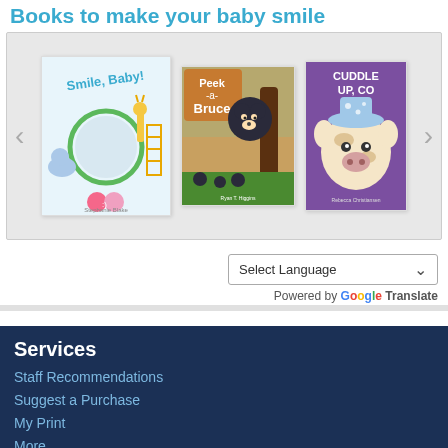Books to make your baby smile
[Figure (illustration): Carousel of children's book covers: 'Smile, Baby!' with mirror and colorful characters, 'Peek-a-Bruce' with a bear hiding behind a tree, and 'Cuddle Up, Co...' with a cow character. Left and right navigation arrows on sides.]
Select Language
Powered by Google Translate
Services
Staff Recommendations
Suggest a Purchase
My Print
More